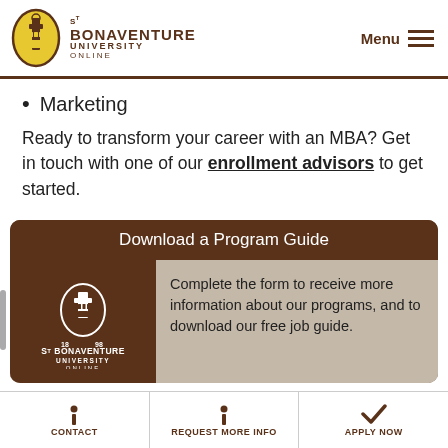St Bonaventure University Online | Menu
Marketing
Ready to transform your career with an MBA? Get in touch with one of our enrollment advisors to get started.
[Figure (infographic): Download a Program Guide card with St Bonaventure University Online logo and text: Complete the form to receive more information about our programs, and to download our free job guide.]
CONTACT | REQUEST MORE INFO | APPLY NOW